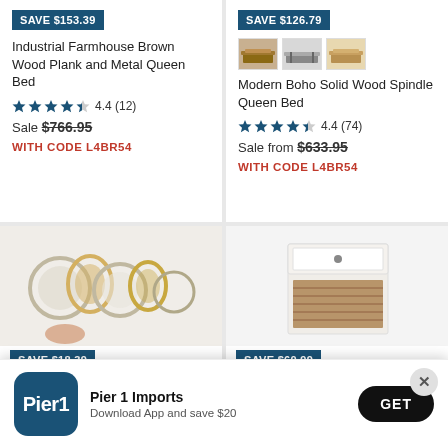[Figure (screenshot): Product listing page from Pier 1 Imports showing four furniture items in a 2x2 grid with a popup app download banner at the bottom.]
SAVE $153.39
Industrial Farmhouse Brown Wood Plank and Metal Queen Bed
4.4 (12)
Sale $766.95
WITH CODE L4BR54
SAVE $126.79
Modern Boho Solid Wood Spindle Queen Bed
4.4 (74)
Sale from $633.95
WITH CODE L4BR54
SAVE $18.39
SAVE $60.99
Pier 1 Imports
Download App and save $20
GET